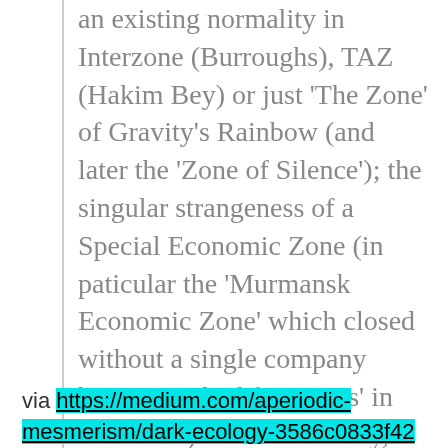an existing normality in Interzone (Burroughs), TAZ (Hakim Bey) or just 'The Zone' of Gravity's Rainbow (and later the 'Zone of Silence'); the singular strangeness of a Special Economic Zone (in paticular the 'Murmansk Economic Zone' which closed without a single company having applied for 'status' in the 'Zone') or more directly, Tarkovsky's Stalker, navigating unseen obstacles into the centre of 'The Zone'.
via https://medium.com/aperiodic-mesmerism/dark-ecology-3586c0833f42